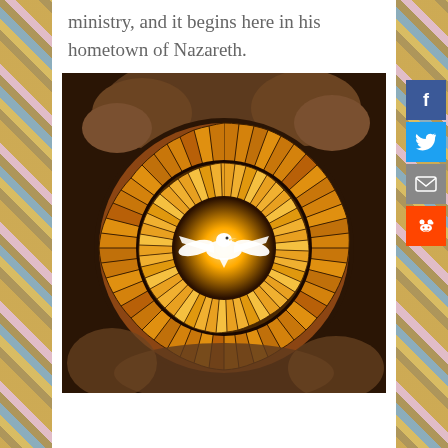ministry, and it begins here in his hometown of Nazareth.
[Figure (photo): Stained glass window depicting the Holy Spirit as a dove in radiant golden light, surrounded by baroque sculpture with angels in clouds, from a church ceiling.]